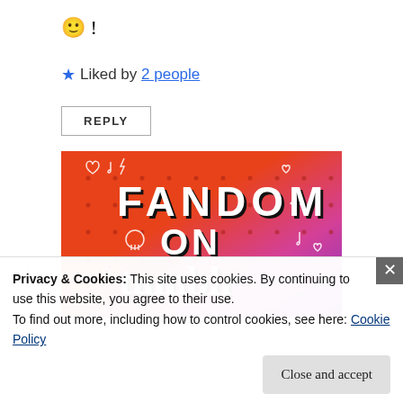🙂 !
★ Liked by 2 people
REPLY
[Figure (illustration): Colorful banner image with gradient background from orange to pink to purple, decorated with doodles (music notes, hearts, arrows, skulls, lightning bolts). Large bold white text reads 'FANDOM ON tumblr'.]
Privacy & Cookies: This site uses cookies. By continuing to use this website, you agree to their use.
To find out more, including how to control cookies, see here: Cookie Policy
Close and accept